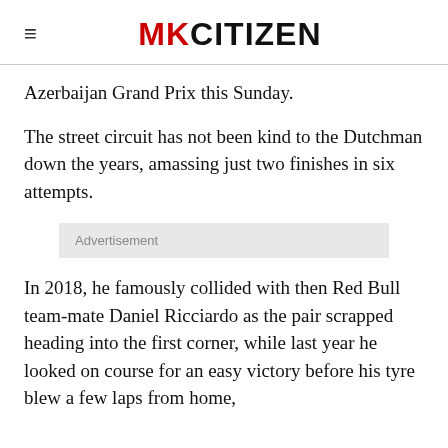≡ MKCITIZEN
Azerbaijan Grand Prix this Sunday.
The street circuit has not been kind to the Dutchman down the years, amassing just two finishes in six attempts.
Advertisement
In 2018, he famously collided with then Red Bull team-mate Daniel Ricciardo as the pair scrapped heading into the first corner, while last year he looked on course for an easy victory before his tyre blew a few laps from home,